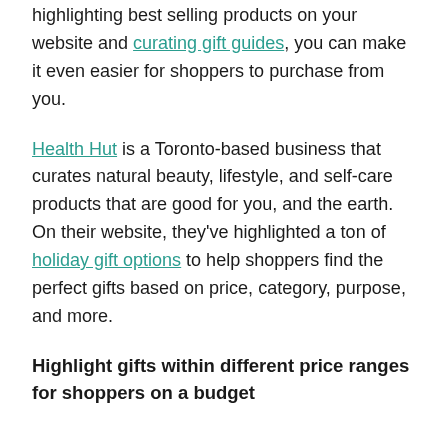highlighting best selling products on your website and curating gift guides, you can make it even easier for shoppers to purchase from you.
Health Hut is a Toronto-based business that curates natural beauty, lifestyle, and self-care products that are good for you, and the earth. On their website, they've highlighted a ton of holiday gift options to help shoppers find the perfect gifts based on price, category, purpose, and more.
Highlight gifts within different price ranges for shoppers on a budget